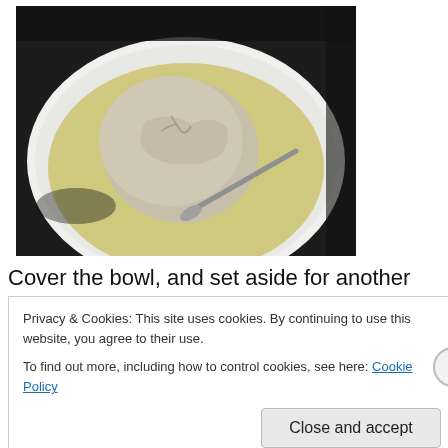[Figure (photo): A white bowl containing a ball of bread dough sitting in liquid (whey or water), with a spoon resting in the bowl. The bowl is on a dark stovetop or counter.]
Cover the bowl, and set aside for another half hour. You're
Privacy & Cookies: This site uses cookies. By continuing to use this website, you agree to their use.
To find out more, including how to control cookies, see here: Cookie Policy